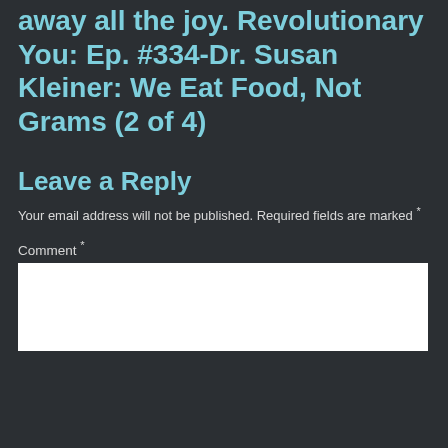away all the joy. Revolutionary You: Ep. #334-Dr. Susan Kleiner: We Eat Food, Not Grams (2 of 4)
Leave a Reply
Your email address will not be published. Required fields are marked *
Comment *